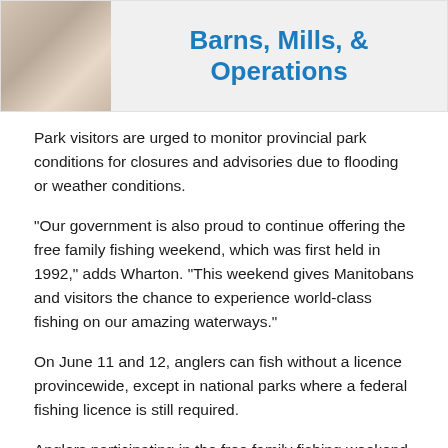[Figure (illustration): Banner image with a person in white clothing on the left and bold blue text reading 'Barns, Mills, & Operations' on a light grey background on the right.]
Park visitors are urged to monitor provincial park conditions for closures and advisories due to flooding or weather conditions.
"Our government is also proud to continue offering the free family fishing weekend, which was first held in 1992," adds Wharton. "This weekend gives Manitobans and visitors the chance to experience world-class fishing on our amazing waterways."
On June 11 and 12, anglers can fish without a licence provincewide, except in national parks where a federal fishing licence is still required.
Anglers participating in the free family fishing weekend are allowed to keep a conservation licence limit of fish, which